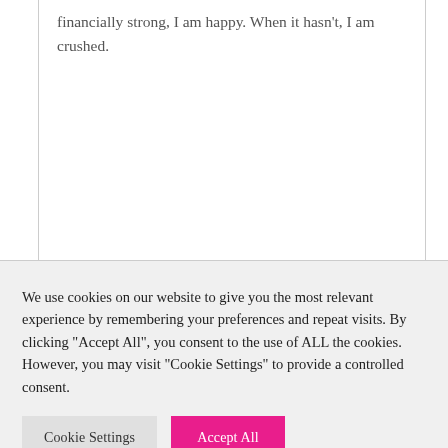financially strong, I am happy. When it hasn't, I am crushed.
We use cookies on our website to give you the most relevant experience by remembering your preferences and repeat visits. By clicking "Accept All", you consent to the use of ALL the cookies. However, you may visit "Cookie Settings" to provide a controlled consent.
Cookie Settings
Accept All